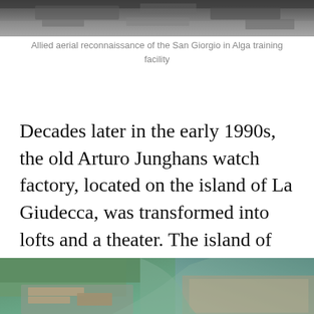[Figure (photo): Allied aerial reconnaissance photograph of the San Giorgio in Alga training facility — grayscale aerial image at top of page]
Allied aerial reconnaissance of the San Giorgio in Alga training facility
Decades later in the early 1990s, the old Arturo Junghans watch factory, located on the island of La Giudecca, was transformed into lofts and a theater. The island of San Giorgio in Alga is only 2.5 km away from the former watch factory.
[Figure (photo): Satellite or aerial color photograph showing the island of La Giudecca and surrounding Venice lagoon area]